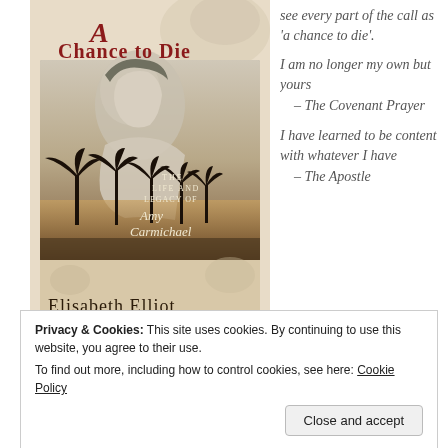[Figure (illustration): Book cover of 'A Chance to Die: The Life and Legacy of Amy Carmichael' by Elisabeth Elliot. Features a vintage black-and-white photograph of a woman's profile overlaid with a tropical sunset silhouette (palm trees and water). The title is in decorative red and dark serif lettering.]
see every part of the call as 'a chance to die'.
I am no longer my own but yours – The Covenant Prayer
I have learned to be content with whatever I have – The Apostle
Privacy & Cookies: This site uses cookies. By continuing to use this website, you agree to their use.
To find out more, including how to control cookies, see here: Cookie Policy
Close and accept
ilities